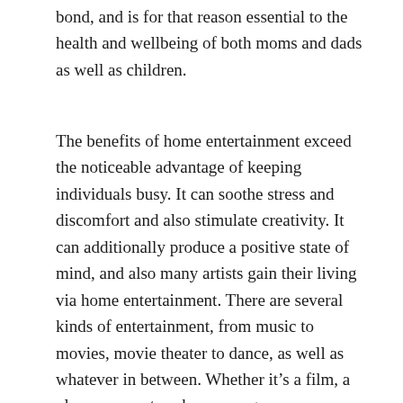bond, and is for that reason essential to the health and wellbeing of both moms and dads as well as children.
The benefits of home entertainment exceed the noticeable advantage of keeping individuals busy. It can soothe stress and discomfort and also stimulate creativity. It can additionally produce a positive state of mind, and also many artists gain their living via home entertainment. There are several kinds of entertainment, from music to movies, movie theater to dance, as well as whatever in between. Whether it’s a film, a play, a concert, a show, or a game, amusement is beneficial to the wellness of everybody.